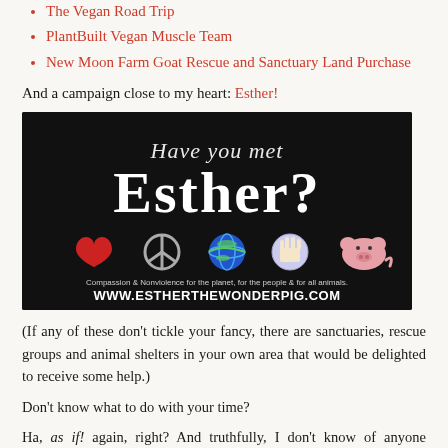The Vegan Road Trip
PlantBuilt Vegan Muscle Team
New Moon Farm Goat Rescue and Sanctuary Land Purchase
And a campaign close to my heart: Esther!
[Figure (illustration): Black background promotional image for Esther the Wonder Pig. Text reads 'Have you met Esther?' with icons of a heart, peace symbol, globe, hand, and a pink pig. Bottom text: 'Compassion & Nonviolence for the planet, for the people & for all animals. WWW.ESTHERTHEWONDERPIG.COM']
(If any of these don't tickle your fancy, there are sanctuaries, rescue groups and animal shelters in your own area that would be delighted to receive some help.)
Don't know what to do with your time?
Ha, as if! again, right? And truthfully, I don't know of anyone complaining that they have too many hours in their day, and you certainly won't hear that coming from me. Just the opposite, in fact.